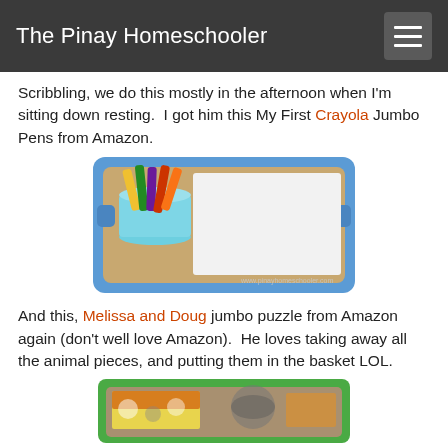The Pinay Homeschooler
Scribbling, we do this mostly in the afternoon when I'm sitting down resting.  I got him this My First Crayola Jumbo Pens from Amazon.
[Figure (photo): A blue plastic tray with handles containing a light blue cup holding colorful jumbo markers/pens, and a blank white paper sheet. The tray sits on a wooden surface. Watermark: www.pinayhomeschooler.com]
And this, Melissa and Doug jumbo puzzle from Amazon again (don't well love Amazon).  He loves taking away all the animal pieces, and putting them in the basket LOL.
[Figure (photo): A green plastic tray containing what appears to be a colorful animal puzzle (Melissa and Doug) and other items, partially visible at the bottom of the page.]